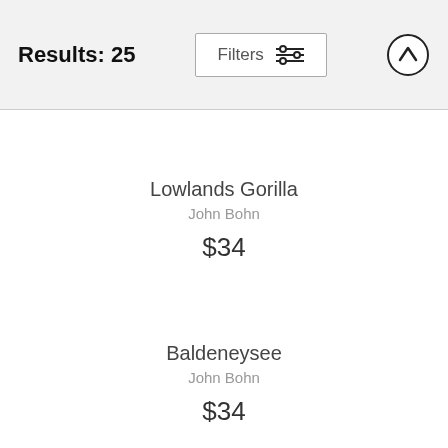Results: 25
Lowlands Gorilla
John Bohn
$34
Baldeneysee
John Bohn
$34
Gavin Williams